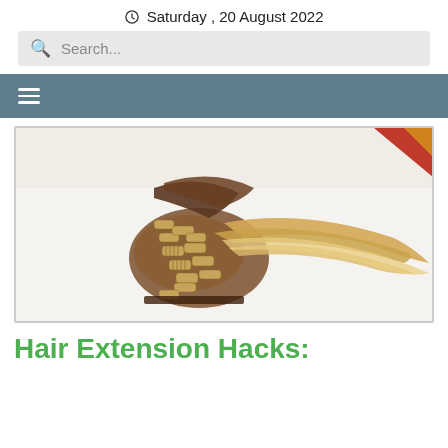Saturday , 20 August 2022
Search...
[Figure (photo): Clip-in hair extensions with multiple hair clips, showing brown-to-blonde ombre hair fanned out on a white surface]
Hair Extension Hacks: